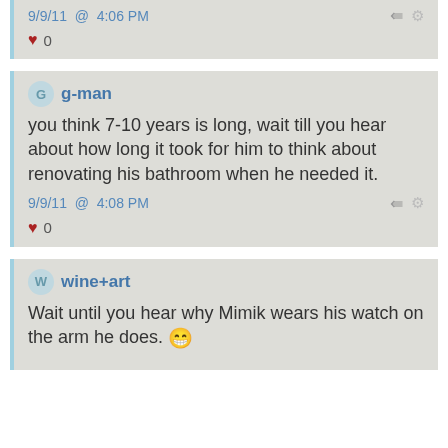9/9/11 @ 4:06 PM
♥ 0
g-man
you think 7-10 years is long, wait till you hear about how long it took for him to think about renovating his bathroom when he needed it.
9/9/11 @ 4:08 PM
♥ 0
wine+art
Wait until you hear why Mimik wears his watch on the arm he does. 😁